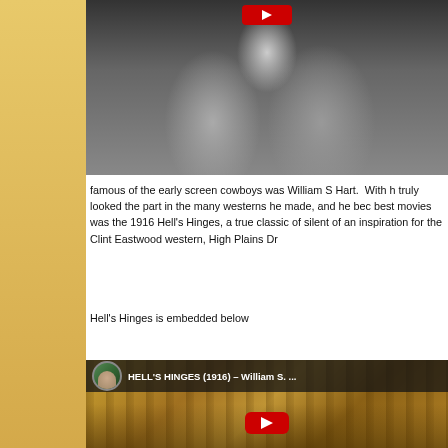[Figure (photo): Black and white photograph of early screen cowboys, partially visible at top of page, showing figures in western clothing]
famous of the early screen cowboys was William S Hart.  With h truly looked the part in the many westerns he made, and he bec best movies was the 1916 Hell's Hinges, a true classic of silent of an inspiration for the Clint Eastwood western, High Plains Dr
Hell's Hinges is embedded below
[Figure (screenshot): YouTube video embed showing HELL'S HINGES (1916) – William S. ... with golden/sepia-toned background image and red YouTube play button]